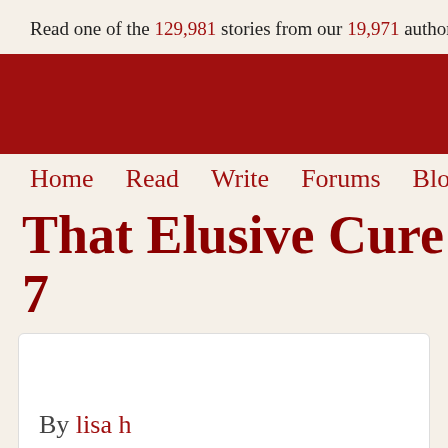Read one of the 129,981 stories from our 19,971 authors
[Figure (other): Red banner/header image area]
Home  Read  Write  Forums  Blog
That Elusive Cure 7
By lisa h
Tue, 09 Jul 2013